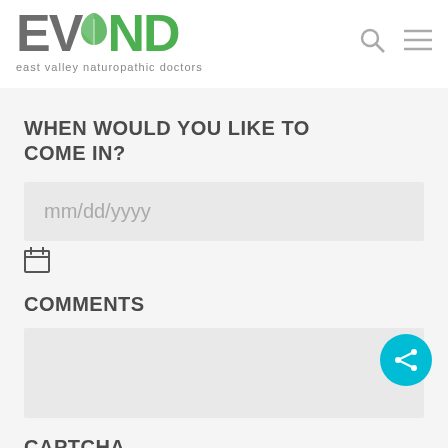[Figure (logo): EVND east valley naturopathic doctors logo with green leaf]
WHEN WOULD YOU LIKE TO COME IN?
mm/dd/yyyy
[Figure (other): Calendar icon]
COMMENTS
CAPTCHA